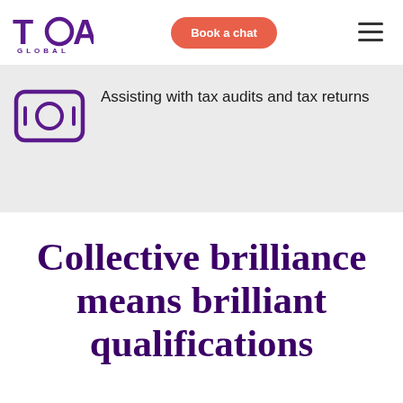[Figure (logo): TOA Global logo with purple text and circular O]
Book a chat
[Figure (other): Hamburger menu icon (three horizontal lines)]
[Figure (illustration): Purple icon showing a calculator or financial document with circular display]
Assisting with tax audits and tax returns
Collective brilliance means brilliant qualifications